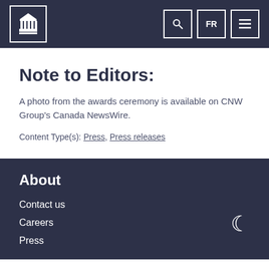Government of Canada logo header with search, FR, and menu buttons
Note to Editors:
A photo from the awards ceremony is available on CNW Group’s Canada NewsWire.
Content Type(s): Press, Press releases
About
Contact us
Careers
Press